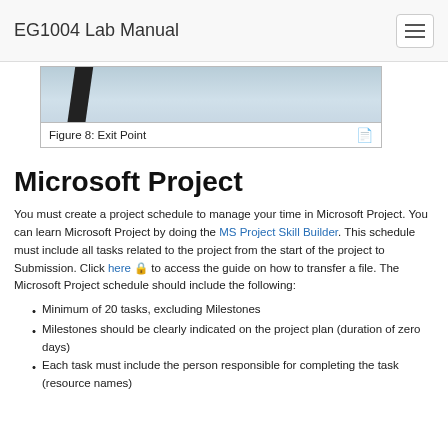EG1004 Lab Manual
[Figure (photo): Partial view of a surface with a diagonal black line and scattered dark spots, labeled Figure 8: Exit Point]
Figure 8: Exit Point
Microsoft Project
You must create a project schedule to manage your time in Microsoft Project. You can learn Microsoft Project by doing the MS Project Skill Builder. This schedule must include all tasks related to the project from the start of the project to Submission. Click here to access the guide on how to transfer a file. The Microsoft Project schedule should include the following:
Minimum of 20 tasks, excluding Milestones
Milestones should be clearly indicated on the project plan (duration of zero days)
Each task must include the person responsible for completing the task (resource names)